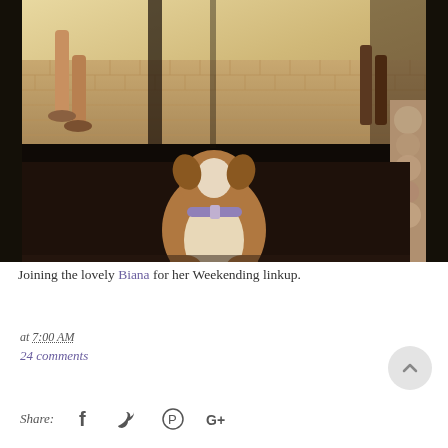[Figure (photo): A dog (appears to be a bulldog or pit bull mix) sitting with its back to the camera, looking out through glass doors at people walking on a brick sidewalk outside. The dog has a purple/pink collar and brown and white coloring.]
Joining the lovely Biana for her Weekending linkup.
at 7:00 AM
24 comments
Share: